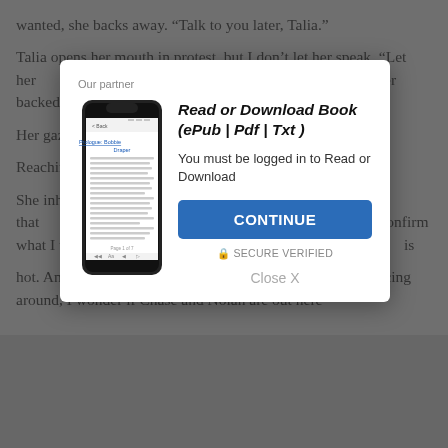wanted, she backs away. “Talk to you later, Talia.”

Talia opens her mouth in protest, but I don’t let her speak. “Let her…” … At the gesture, Talia’s e… her backed… alone, anyway… ng.

Her gaz… hat are you doi…

Reachin… look like?”

She inh… tly. I like that… pe that this will… confirm what I t… What Chase s… is
hot. And she’s a good kisser. This could be fun. Subtly glancing around, I wonder if Chase and Nolan are out here
[Figure (screenshot): A modal dialog box overlaying background text. The modal has 'Our partner' label at top, a smartphone image on the left showing an eBook reader app with 'Prologue: Bobbie Draper' title, and on the right bold italic text reading 'Read or Download Book (￾Pub | Pdf | Txt )'. Below that text 'You must be logged in to Read or Download', a blue CONTINUE button, a SECURE VERIFIED label with lock icon, and a 'Close X' link at the bottom.]